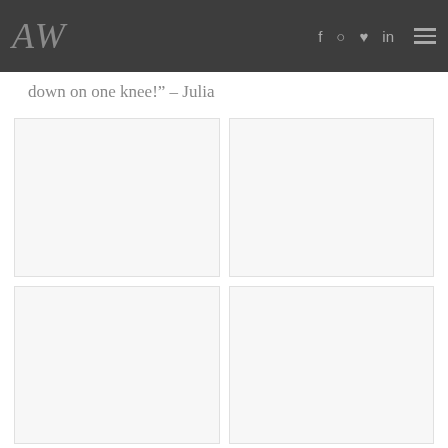AW  f  ig  p  in  ☰
down on one knee!" – Julia
[Figure (photo): Photo placeholder – top left image]
[Figure (photo): Photo placeholder – top right image]
[Figure (photo): Photo placeholder – bottom left image]
[Figure (photo): Photo placeholder – bottom right image]